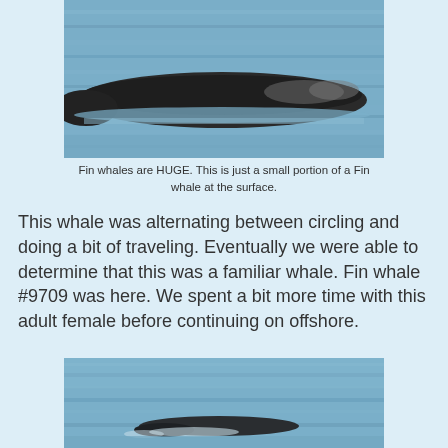[Figure (photo): A large fin whale partially surfacing from blue ocean water, showing its dark back and body. Only a portion of the whale is visible above the surface.]
Fin whales are HUGE. This is just a small portion of a Fin whale at the surface.
This whale was alternating between circling and doing a bit of traveling. Eventually we were able to determine that this was a familiar whale. Fin whale #9709 was here. We spent a bit more time with this adult female before continuing on offshore.
[Figure (photo): A fin whale partially visible at the ocean surface, seen from a distance, with blue choppy water surrounding it. The whale's head or back is barely visible above the waterline.]